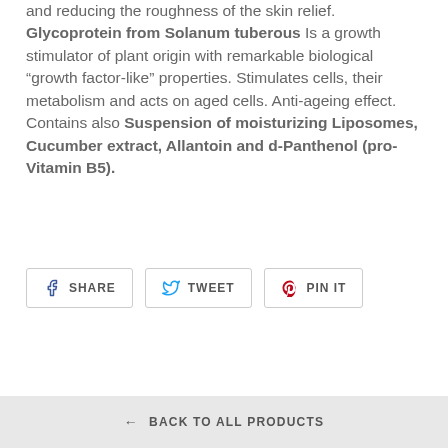and reducing the roughness of the skin relief. Glycoprotein from Solanum tuberous Is a growth stimulator of plant origin with remarkable biological “growth factor-like” properties. Stimulates cells, their metabolism and acts on aged cells. Anti-ageing effect. Contains also Suspension of moisturizing Liposomes, Cucumber extract, Allantoin and d-Panthenol (pro-Vitamin B5).
[Figure (other): Social share buttons: SHARE (Facebook), TWEET (Twitter), PIN IT (Pinterest)]
← BACK TO ALL PRODUCTS